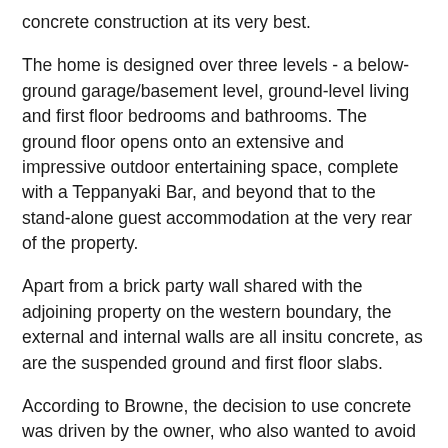concrete construction at its very best.
The home is designed over three levels - a below-ground garage/basement level, ground-level living and first floor bedrooms and bathrooms. The ground floor opens onto an extensive and impressive outdoor entertaining space, complete with a Teppanyaki Bar, and beyond that to the stand-alone guest accommodation at the very rear of the property.
Apart from a brick party wall shared with the adjoining property on the western boundary, the external and internal walls are all insitu concrete, as are the suspended ground and first floor slabs.
According to Browne, the decision to use concrete was driven by the owner, who also wanted to avoid applied finishes where she could.